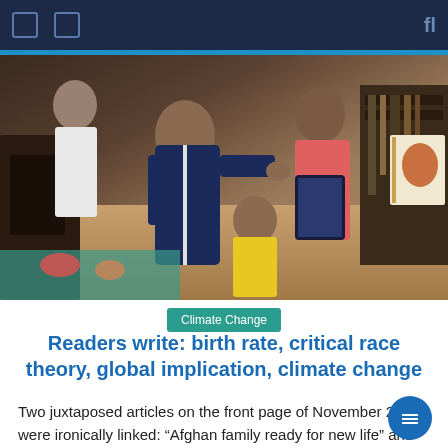Navigation bar with menu icons and search
[Figure (photo): Children in a home setting, a boy in a navy blue tracksuit reaching toward a table, a girl in pink holding a tablet, a younger child in yellow, and hands holding a book on the right side. Indoor scene with wooden floors.]
Climate Change
Readers write: birth rate, critical race theory, global implication, climate change
Two juxtaposed articles on the front page of November 22 were ironically linked: “Afghan family ready for new life” and “Study shows more in US excludes children.” The “experts” are